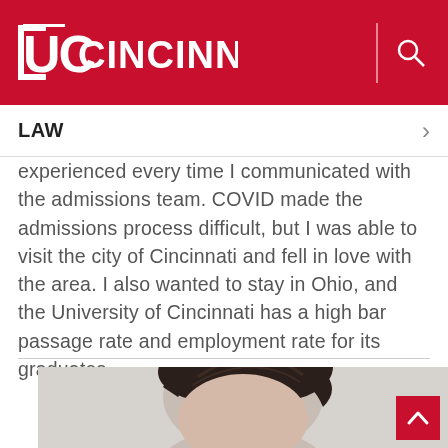UC Cincinnati — LAW
experienced every time I communicated with the admissions team. COVID made the admissions process difficult, but I was able to visit the city of Cincinnati and fell in love with the area. I also wanted to stay in Ohio, and the University of Cincinnati has a high bar passage rate and employment rate for its graduates.
[Figure (photo): Headshot of a young man with dark hair against a light background]